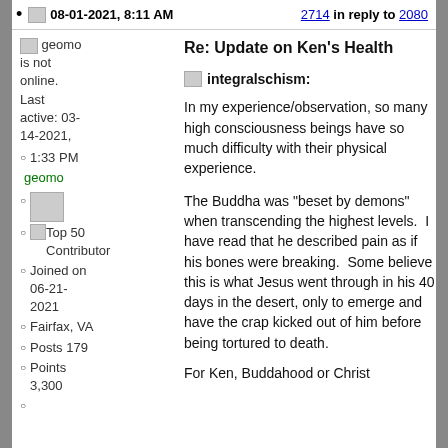08-01-2021, 8:11 AM  2714 in reply to 2080
geomo is not online. Last active: 03-14-2021, 1:33 PM
Re: Update on Ken's Health
geomo
[image]
Top 50 Contributor
Joined on 06-21-2021
Fairfax, VA
Posts 179
Points 3,300
integralschism:
In my experience/observation, so many high consciousness beings have so much difficulty with their physical experience.
The Buddha was "beset by demons" when transcending the highest levels.  I have read that he described pain as if his bones were breaking.  Some believe this is what Jesus went through in his 40 days in the desert, only to emerge and have the crap kicked out of him before being tortured to death.
For Ken, Buddahood or Christ